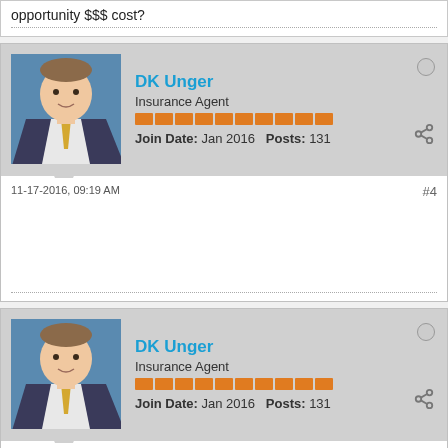opportunity $$$ cost?
DK Unger
Insurance Agent
Join Date: Jan 2016  Posts: 131
11-17-2016, 09:19 AM
#4
DK Unger
Insurance Agent
Join Date: Jan 2016  Posts: 131
11-22-2016, 07:39 AM
#5